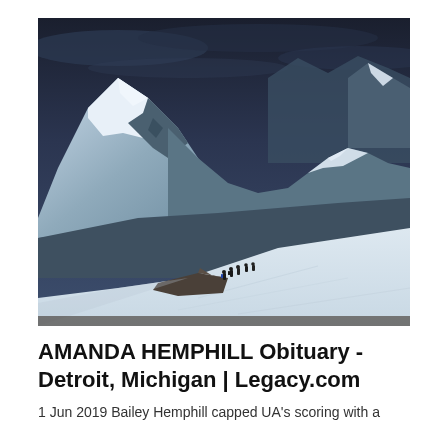[Figure (photo): Snow-covered mountain range with dramatic dark cloudy sky. Several small figures of mountaineers visible in the foreground on a snowy slope with rocky terrain. The mountains are heavily snow-capped with steep rocky faces.]
AMANDA HEMPHILL Obituary - Detroit, Michigan | Legacy.com
1 Jun 2019 Bailey Hemphill capped UA's scoring with a